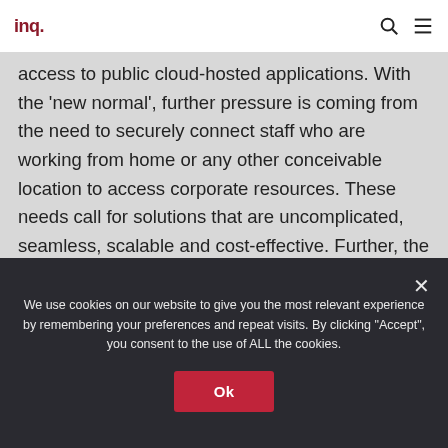inq.
access to public cloud-hosted applications. With the ‘new normal’, further pressure is coming from the need to securely connect staff who are working from home or any other conceivable location to access corporate resources. These needs call for solutions that are uncomplicated, seamless, scalable and cost-effective. Further, the management of link outages and rerouting of traffic based on levels of
We use cookies on our website to give you the most relevant experience by remembering your preferences and repeat visits. By clicking “Accept”, you consent to the use of ALL the cookies.
Ok